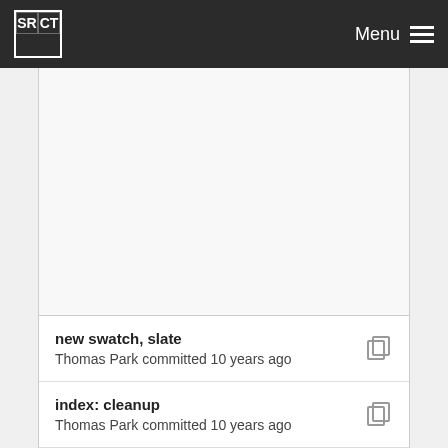SRCT Menu
new swatch, slate
Thomas Park committed 10 years ago
index: cleanup
Thomas Park committed 10 years ago